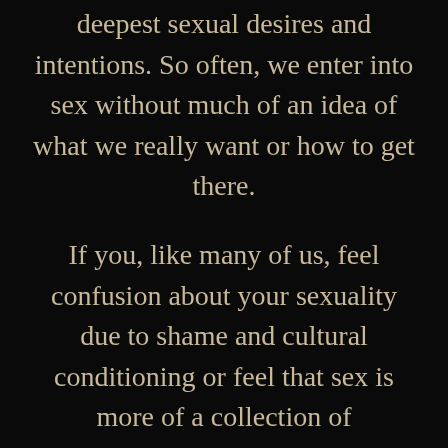deepest sexual desires and intentions. So often, we enter into sex without much of an idea of what we really want or how to get there.

If you, like many of us, feel confusion about your sexuality due to shame and cultural conditioning or feel that sex is more of a collection of performative habits and routines that do not honor the authentic expression of who you